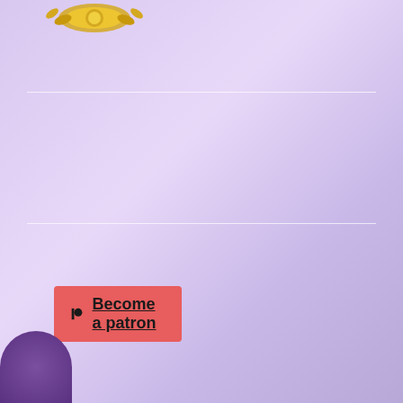[Figure (logo): Gold decorative element at top]
[Figure (logo): Patreon button with red background and 'Become a patron' text]
[Figure (logo): Reedsy 'Available to hire on reedsy.com' teal button with bird logo]
[Figure (logo): Alignable logo with text]